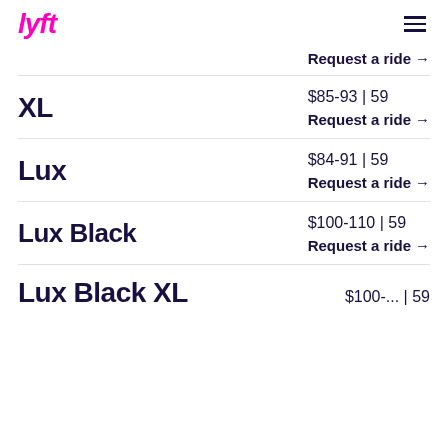lyft
Request a ride →
XL
$85-93 | 59
Request a ride →
Lux
$84-91 | 59
Request a ride →
Lux Black
$100-110 | 59
Request a ride →
Lux Black XL
$100-... | 59